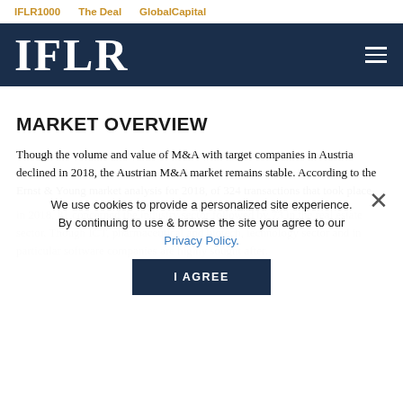IFLR1000   The Deal   GlobalCapital
[Figure (logo): IFLR logo — white serif text on dark navy background with hamburger menu icon]
MARKET OVERVIEW
Though the volume and value of M&A with target companies in Austria declined in 2018, the Austrian M&A market remains stable. According to the Ernst & Young market analysis for 2018, of 324 transactions that took place in 2018, 81 concerned the industry sector followed by 73 in the real estate sector. Though ICT, pharmaceutical and biotech, technology sector and in particular software companies are highly sought after.
We use cookies to provide a personalized site experience. By continuing to use & browse the site you agree to our Privacy Policy.
M&A activity